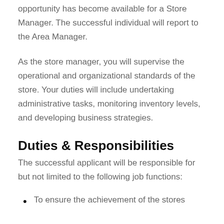opportunity has become available for a Store Manager. The successful individual will report to the Area Manager.
As the store manager, you will supervise the operational and organizational standards of the store. Your duties will include undertaking administrative tasks, monitoring inventory levels, and developing business strategies.
Duties & Responsibilities
The successful applicant will be responsible for but not limited to the following job functions:
To ensure the achievement of the stores